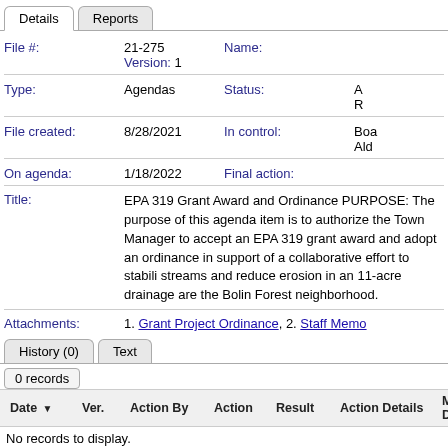Details | Reports (tabs)
File #: 21-275  Version: 1  Name:
Type: Agendas  Status: A R
File created: 8/28/2021  In control: Boa Ald
On agenda: 1/18/2022  Final action:
Title: EPA 319 Grant Award and Ordinance PURPOSE: The purpose of this agenda item is to authorize the Town Manager to accept an EPA 319 grant award and adopt an ordinance in support of a collaborative effort to stabilize streams and reduce erosion in an 11-acre drainage area in the Bolin Forest neighborhood.
Attachments: 1. Grant Project Ordinance, 2. Staff Memo
History (0) | Text tabs
0 records
| Date | Ver. | Action By | Action | Result | Action Details | Meeting Details |
| --- | --- | --- | --- | --- | --- | --- |
No records to display.